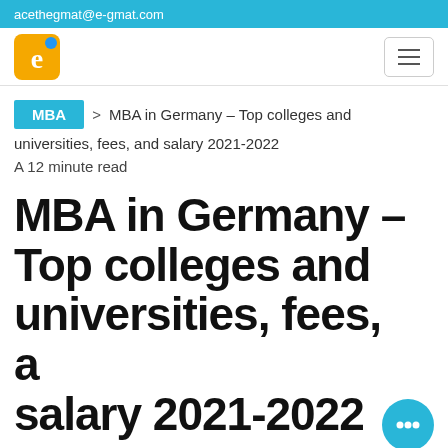acethegmat@e-gmat.com
MBA > MBA in Germany – Top colleges and universities, fees, and salary 2021-2022
A 12 minute read
MBA in Germany – Top colleges and universities, fees, and salary 2021-2022